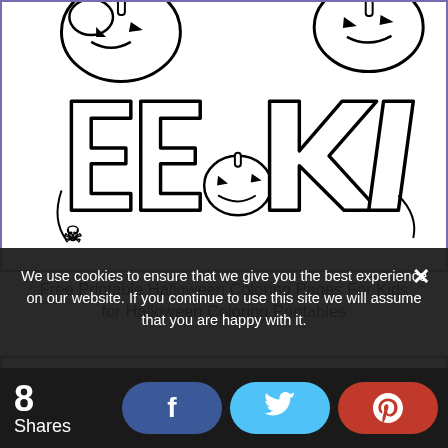[Figure (illustration): Halloween coloring page showing jack-o-lanterns and large graffiti-style text reading 'EEK' with a small skull symbol in the bottom left corner. Black and white line art for coloring.]
Free Printable Halloween Coloring Pages For Kids for Halloween Coloring Printables
[Figure (illustration): Second Halloween coloring page showing a decorative border of bats and pumpkins at the top, with partial ornate text visible below. Black and white line art.]
We use cookies to ensure that we give you the best experience on our website. If you continue to use this site we will assume that you are happy with it.
8 Shares